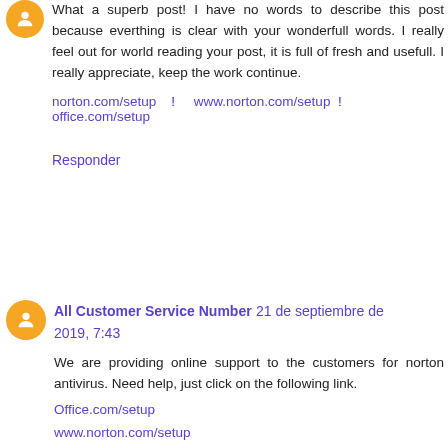What a superb post! I have no words to describe this post because everthing is clear with your wonderfull words. I really feel out for world reading your post, it is full of fresh and usefull. I really appreciate, keep the work continue.
norton.com/setup ! www.norton.com/setup ! office.com/setup
Responder
All Customer Service Number 21 de septiembre de 2019, 7:43
We are providing online support to the customers for norton antivirus. Need help, just click on the following link.
Office.com/setup
www.norton.com/setup
Norton.com/setup
Responder